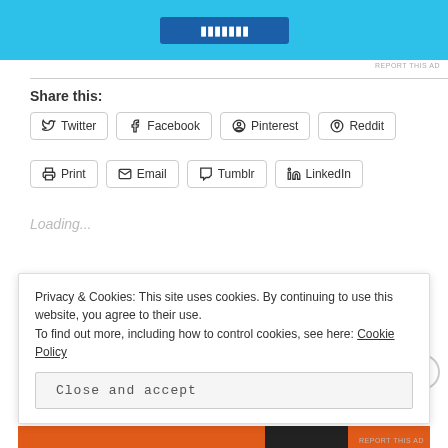[Figure (other): Advertisement banner with blue background and dark blue button]
REPORT THIS AD
Share this:
Twitter
Facebook
Pinterest
Reddit
Print
Email
Tumblr
LinkedIn
Loading...
Tagged Almond milk, food allergy, milk allergy, out of milk, outgrow allergy, soy milk, whole milk
Leave a comment
Privacy & Cookies: This site uses cookies. By continuing to use this website, you agree to their use. To find out more, including how to control cookies, see here: Cookie Policy
Close and accept